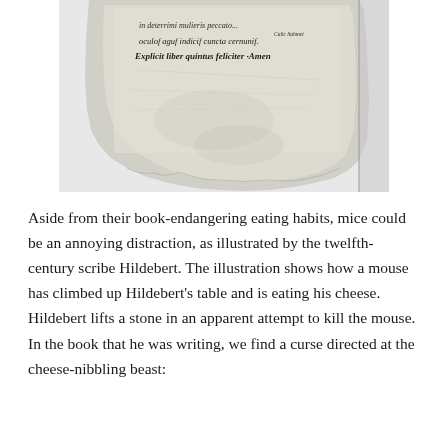[Figure (photo): Photograph of a medieval manuscript page showing handwritten Latin text in Gothic script, including the words 'oculof aguf indicif cuncta cernunif' and 'Explicit liber quintus feliciter Amen'. The parchment appears aged and torn at the bottom.]
Aside from their book-endangering eating habits, mice could be an annoying distraction, as illustrated by the twelfth-century scribe Hildebert. The illustration shows how a mouse has climbed up Hildebert's table and is eating his cheese. Hildebert lifts a stone in an apparent attempt to kill the mouse. In the book that he was writing, we find a curse directed at the cheese-nibbling beast: